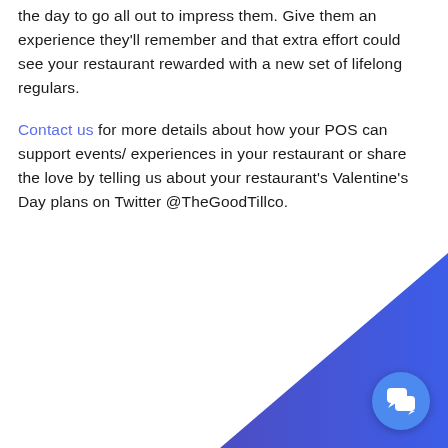the day to go all out to impress them. Give them an experience they'll remember and that extra effort could see your restaurant rewarded with a new set of lifelong regulars.
Contact us for more details about how your POS can support events/ experiences in your restaurant or share the love by telling us about your restaurant's Valentine's Day plans on Twitter @TheGoodTillco.
[Figure (illustration): Diagonal gradient background shape in bottom portion of page transitioning from purple on left to blue on right, with a circular blue chat button in the bottom right corner.]